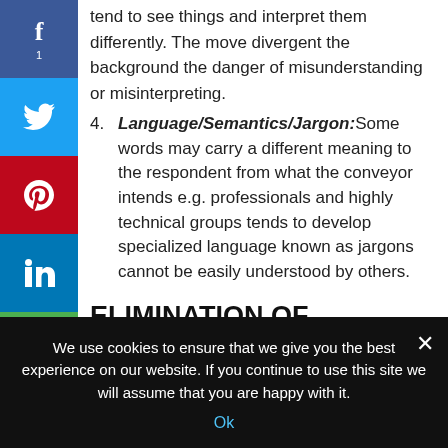4. Language/Semantics/Jargon: Some words may carry a different meaning to the respondent from what the conveyor intends e.g. professionals and highly technical groups tends to develop specialized language known as jargons cannot be easily understood by others.
ELIMINATION OF COMMUNICATION
Effective Communication occurs when a message is completely understood by its recipient. Communication encompasses most areas of life. It is used in both business and personal relationships.
We use cookies to ensure that we give you the best experience on our website. If you continue to use this site we will assume that you are happy with it.